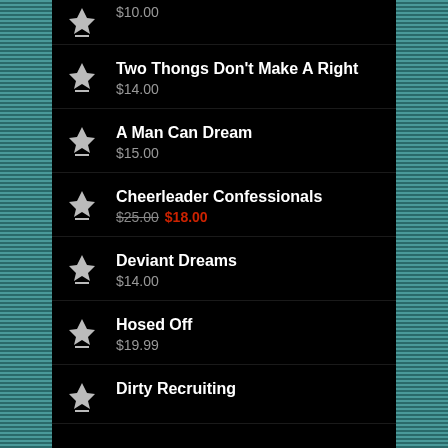$10.00
Two Thongs Don't Make A Right
$14.00
A Man Can Dream
$15.00
Cheerleader Confessionals
$25.00 $18.00
Deviant Dreams
$14.00
Hosed Off
$19.99
Dirty Recruiting